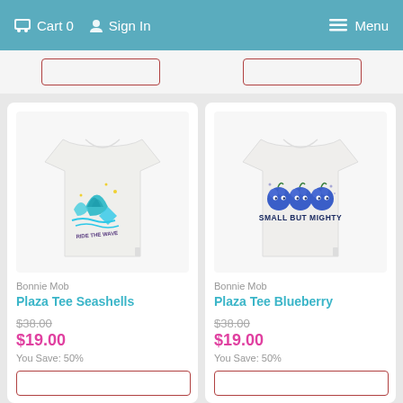Cart 0  Sign In  Menu
[Figure (photo): White children's t-shirt with seashell graphic and 'ride the wave' text in teal/blue colors]
Bonnie Mob
Plaza Tee Seashells
$38.00
$19.00
You Save: 50%
[Figure (photo): White children's t-shirt with blueberry characters graphic and 'SMALL BUT MIGHTY' text in dark blue]
Bonnie Mob
Plaza Tee Blueberry
$38.00
$19.00
You Save: 50%